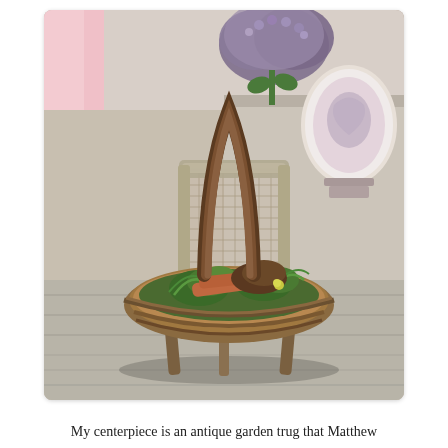[Figure (photo): A rustic antique wooden garden trug basket with a curved arched handle, sitting on legs on a weathered grey wooden table. The trug contains green plants, ferns, terra cotta pots or tools, and a mound of soil. In the background is a French-style cane-back chair in grey, a purple/mauve decorative plate on a mantel, a bouquet of purple lilac flowers, and a pink curtain.]
My centerpiece is an antique garden trug that Matthew